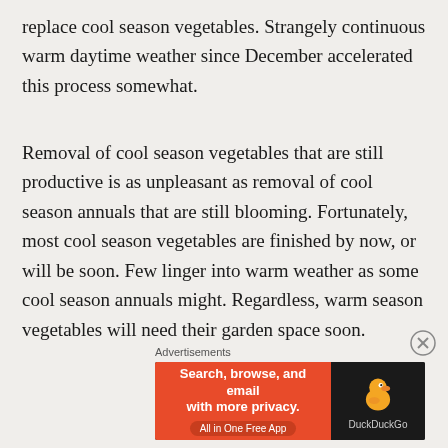replace cool season vegetables. Strangely continuous warm daytime weather since December accelerated this process somewhat.
Removal of cool season vegetables that are still productive is as unpleasant as removal of cool season annuals that are still blooming. Fortunately, most cool season vegetables are finished by now, or will be soon. Few linger into warm weather as some cool season annuals might. Regardless, warm season vegetables will need their garden space soon.
[Figure (other): DuckDuckGo advertisement banner with orange background on left side reading 'Search, browse, and email with more privacy. All in One Free App' and dark background on right with DuckDuckGo duck logo]